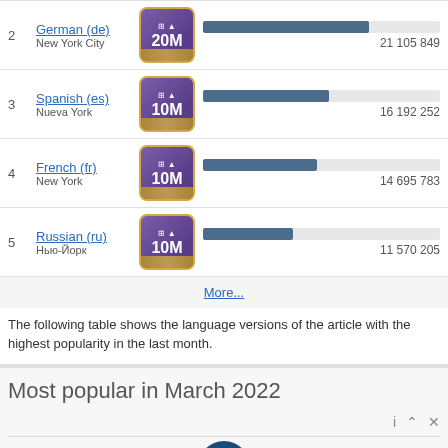| # | Language | Badge | Bar | Count |
| --- | --- | --- | --- | --- |
| 2 | German (de) / New York City | 20M |  | 21 105 849 |
| 3 | Spanish (es) / Nueva York | 10M |  | 16 192 252 |
| 4 | French (fr) / New York | 10M |  | 14 695 783 |
| 5 | Russian (ru) / Нью-Йорк | 10M |  | 11 570 205 |
More...
The following table shows the language versions of the article with the highest popularity in the last month.
Most popular in March 2022
The most popular language version of the article "Nyu-York" in March 2022